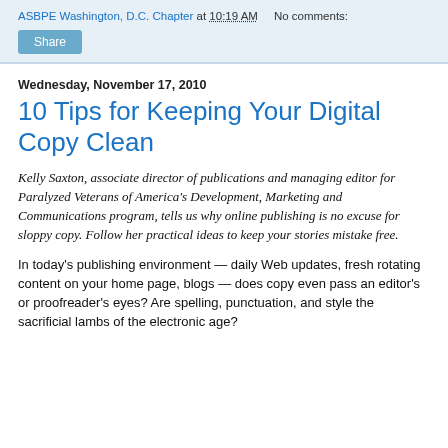ASBPE Washington, D.C. Chapter at 10:19 AM   No comments:
Share
Wednesday, November 17, 2010
10 Tips for Keeping Your Digital Copy Clean
Kelly Saxton, associate director of publications and managing editor for Paralyzed Veterans of America's Development, Marketing and Communications program, tells us why online publishing is no excuse for sloppy copy. Follow her practical ideas to keep your stories mistake free.
In today’s publishing environment — daily Web updates, fresh rotating content on your home page, blogs — does copy even pass an editor’s or proofreader’s eyes? Are spelling, punctuation, and style the sacrificial lambs of the electronic age?